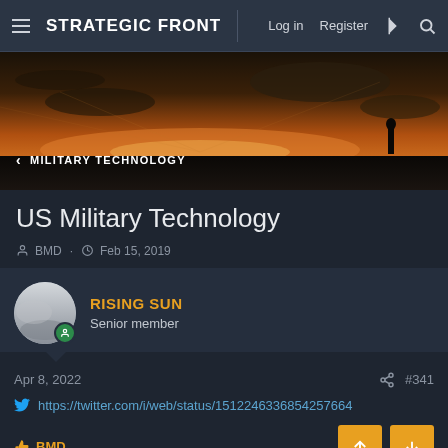STRATEGIC FRONT — Log in  Register
[Figure (photo): Dark sunset panoramic banner with silhouette of person standing on horizon, orange sky with clouds]
< MILITARY TECHNOLOGY
US Military Technology
BMD · Feb 15, 2019
RISING SUN
Senior member
Apr 8, 2022	#341
https://twitter.com/i/web/status/1512246336854257664
BMD